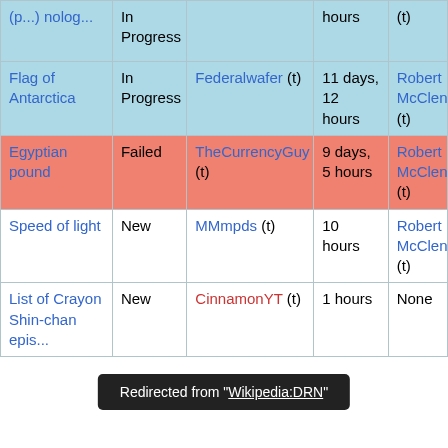| Article | Status | Nominator | Duration | Closer |
| --- | --- | --- | --- | --- |
| (partial, clipped) | In Progress | Federalwafer (t) | 11 days, 12 hours | Robert McCleno... (t) |
| Flag of Antarctica | In Progress | Federalwafer (t) | 11 days, 12 hours | Robert McCleno... (t) |
| Egyptian pound | Failed | TheCurrencyGuy (t) | 9 days, 5 hours | Robert McCleno... (t) |
| Speed of light | New | MMmpds (t) | 10 hours | Robert McCleno... (t) |
| List of Crayon Shin-chan epis... | New | CinnamonYT (t) | 1 hours | None |
Redirected from "Wikipedia:DRN"